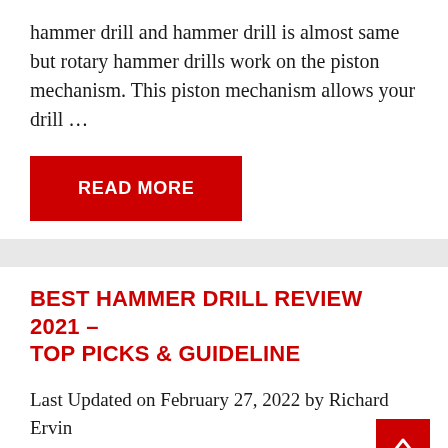hammer drill and hammer drill is almost same but rotary hammer drills work on the piston mechanism. This piston mechanism allows your drill …
READ MORE
BEST HAMMER DRILL REVIEW 2021 – TOP PICKS & GUIDELINE
Last Updated on February 27, 2022 by Richard Ervin